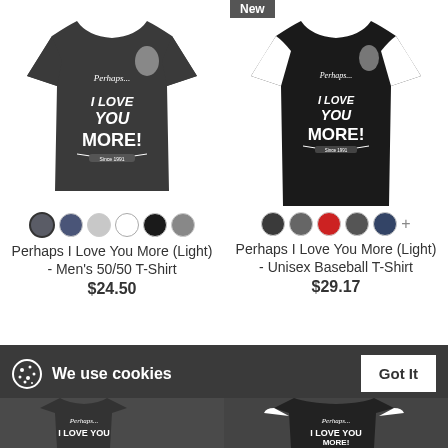[Figure (photo): Dark gray men's 50/50 T-shirt with 'Perhaps I Love You More!' graphic design featuring a person's image]
[Figure (photo): Black and white unisex baseball T-shirt with 'Perhaps I Love You More!' graphic design, labeled 'New']
Perhaps I Love You More (Light) - Men's 50/50 T-Shirt
$24.50
Perhaps I Love You More (Light) - Unisex Baseball T-Shirt
$29.17
We use cookies
Click here to see a list of the categories of personal information we collect and what we use them for ("Notice at Collection").
Privacy Policy
Do Not Sell My Personal Information
By using this website, I agree to the Terms and Conditions